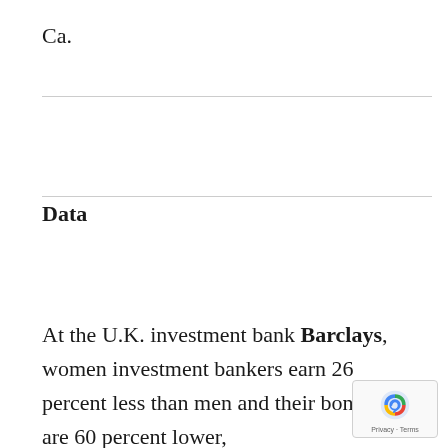Ca.
Data
At the U.K. investment bank Barclays, women investment bankers earn 26 percent less than men and their bonuses are 60 percent lower,